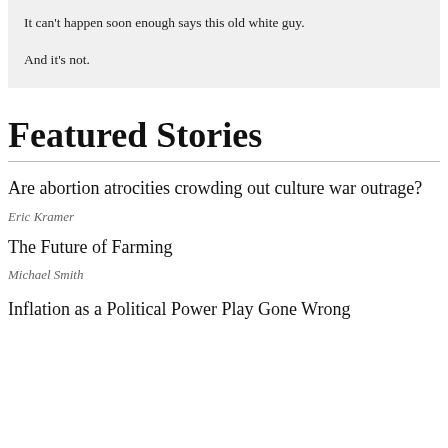It can't happen soon enough says this old white guy.
And it's not.
Featured Stories
Are abortion atrocities crowding out culture war outrage?
Eric Kramer
The Future of Farming
Michael Smith
Inflation as a Political Power Play Gone Wrong